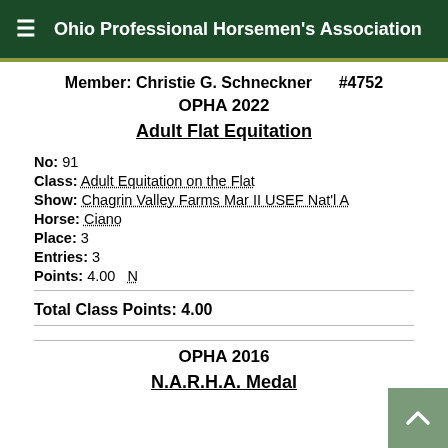Ohio Professional Horsemen's Association
Member: Christie G. Schneckner #4752
OPHA 2022
Adult Flat Equitation
No: 91
Class: Adult Equitation on the Flat
Show: Chagrin Valley Farms Mar II USEF Nat'l A
Horse: Ciano
Place: 3
Entries: 3
Points: 4.00  N
Total Class Points: 4.00
OPHA 2016
N.A.R.H.A. Medal